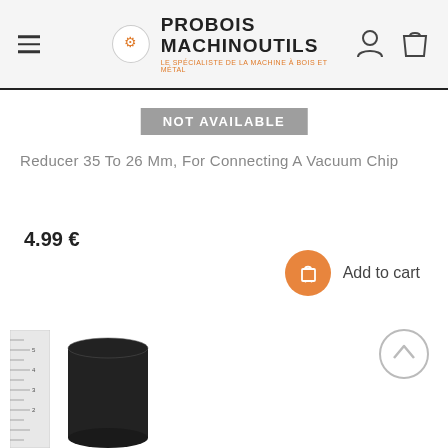PROBOIS MACHINOUTILS — LE SPÉCIALISTE DE LA MACHINE À BOIS ET MÉTAL
NOT AVAILABLE
Reducer 35 To 26 Mm, For Connecting A Vacuum Chip
4.99 €
Add to cart
[Figure (photo): Black rubber reducer/adapter fitting (35mm to 26mm) shown next to a ruler for scale reference]